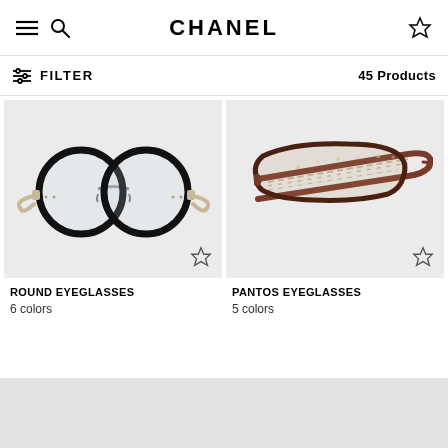CHANEL
FILTER  45 Products
[Figure (photo): Round eyeglasses with black circular frames and gold/clear temples]
ROUND EYEGLASSES
6 colors
[Figure (photo): Pantos eyeglasses with dark tortoiseshell frames and patterned/textured temples, viewed from side]
PANTOS EYEGLASSES
5 colors